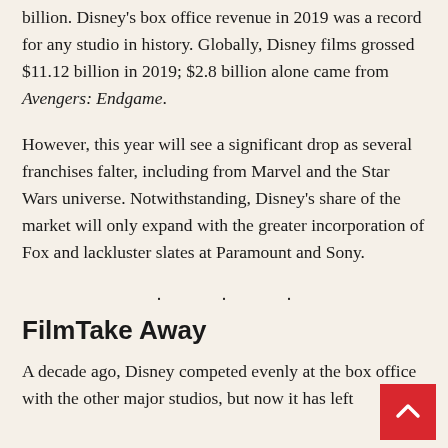billion. Disney's box office revenue in 2019 was a record for any studio in history. Globally, Disney films grossed $11.12 billion in 2019; $2.8 billion alone came from Avengers: Endgame.
However, this year will see a significant drop as several franchises falter, including from Marvel and the Star Wars universe. Notwithstanding, Disney's share of the market will only expand with the greater incorporation of Fox and lackluster slates at Paramount and Sony.
. . .
FilmTake Away
A decade ago, Disney competed evenly at the box office with the other major studios, but now it has left